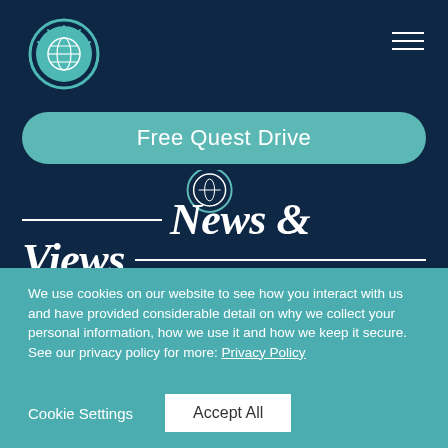[Figure (logo): Circular teal logo with a lightbulb containing a globe/world icon, on dark navy background]
Free Quest Drive
News & Views
We use cookies on our website to see how you interact with us and have provided considerable detail on why we collect your personal information, how we use it and how we keep it secure. See our privacy policy for more: Privacy Policy
Cookie Settings
Accept All